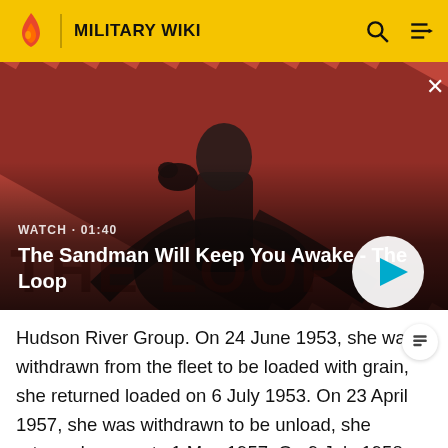MILITARY WIKI
[Figure (screenshot): Video thumbnail for 'The Sandman Will Keep You Awake - The Loop' with a dark-clad figure against a red diagonal striped background. Shows WATCH · 01:40 label and a play button.]
The Sandman Will Keep You Awake - The Loop
Hudson River Group. On 24 June 1953, she was withdrawn from the fleet to be loaded with grain, she returned loaded on 6 July 1953. On 23 April 1957, she was withdrawn to be unload, she returned on empty 1 May 1957. On 9 July 1958, she was withdrawn from the fleet to